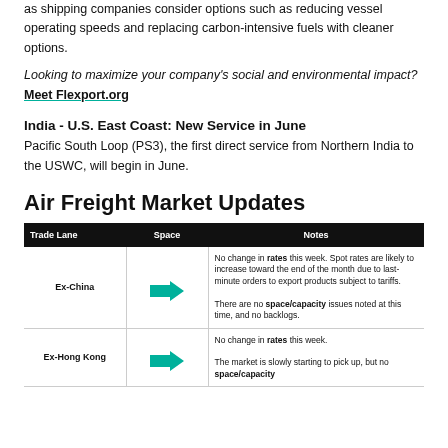as shipping companies consider options such as reducing vessel operating speeds and replacing carbon-intensive fuels with cleaner options.
Looking to maximize your company's social and environmental impact? Meet Flexport.org
India - U.S. East Coast: New Service in June
Pacific South Loop (PS3), the first direct service from Northern India to the USWC, will begin in June.
Air Freight Market Updates
| Trade Lane | Space | Notes |
| --- | --- | --- |
| Ex-China | [arrow] | No change in rates this week. Spot rates are likely to increase toward the end of the month due to last-minute orders to export products subject to tariffs.
There are no space/capacity issues noted at this time, and no backlogs. |
| Ex-Hong Kong | [arrow] | No change in rates this week.
The market is slowly starting to pick up, but no space/capacity |